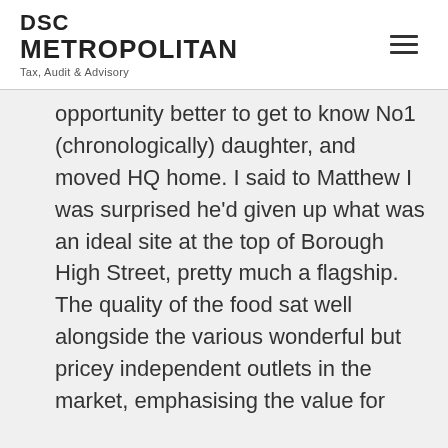DSC METROPOLITAN
Tax, Audit & Advisory
opportunity better to get to know No1 (chronologically) daughter, and moved HQ home. I said to Matthew I was surprised he'd given up what was an ideal site at the top of Borough High Street, pretty much a flagship. The quality of the food sat well alongside the various wonderful but pricey independent outlets in the market, emphasising the value for